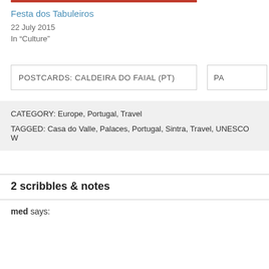Festa dos Tabuleiros
22 July 2015
In “Culture”
POSTCARDS: CALDEIRA DO FAIAL (PT)
PA
CATEGORY: Europe, Portugal, Travel
TAGGED: Casa do Valle, Palaces, Portugal, Sintra, Travel, UNESCO W
2 scribbles & notes
med says: